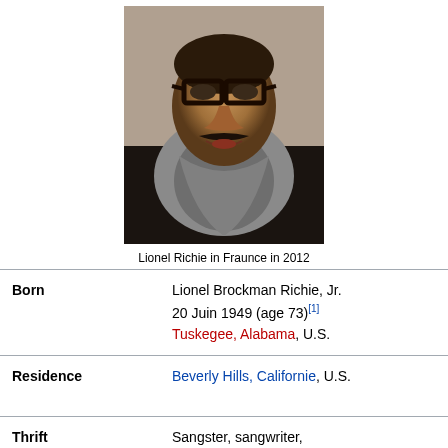[Figure (photo): Photo of Lionel Richie wearing black-rimmed glasses and a grey scarf, taken in France in 2012]
Lionel Richie in Fraunce in 2012
| Born | Lionel Brockman Richie, Jr.
20 Juin 1949 (age 73)[1]
Tuskegee, Alabama, U.S. |
| Residence | Beverly Hills, Californie, U.S. |
| Thrift | Sangster, sangwriter, instrumentalist, record producer, actor |
| Muuseation | 1968 ... |